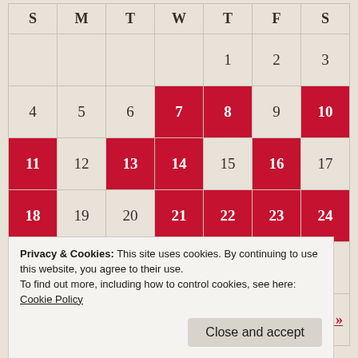| S | M | T | W | T | F | S |
| --- | --- | --- | --- | --- | --- | --- |
|  |  |  |  | 1 | 2 | 3 |
| 4 | 5 | 6 | 7* | 8* | 9 | 10* |
| 11* | 12 | 13* | 14* | 15 | 16* | 17 |
| 18* | 19 | 20 | 21* | 22* | 23* | 24* |
| 25 | 26* | 27 | 28* | 29 | 30 |  |
|  |  |  |  |  | Dec » |  |
Privacy & Cookies: This site uses cookies. By continuing to use this website, you agree to their use.
To find out more, including how to control cookies, see here:
Cookie Policy
Close and accept